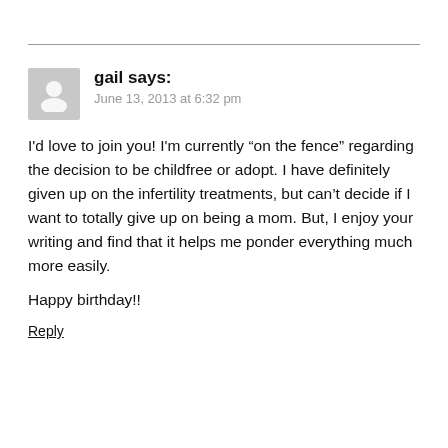gail says:
June 13, 2013 at 6:32 pm
I'd love to join you! I'm currently “on the fence” regarding the decision to be childfree or adopt. I have definitely given up on the infertility treatments, but can’t decide if I want to totally give up on being a mom. But, I enjoy your writing and find that it helps me ponder everything much more easily.
Happy birthday!!
Reply